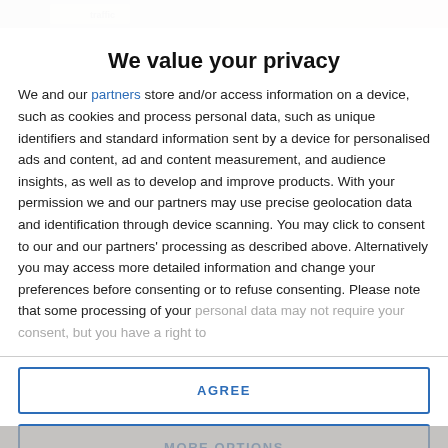[Figure (photo): Partial top strip showing blurred background image with traffic-related content]
We value your privacy
We and our partners store and/or access information on a device, such as cookies and process personal data, such as unique identifiers and standard information sent by a device for personalised ads and content, ad and content measurement, and audience insights, as well as to develop and improve products. With your permission we and our partners may use precise geolocation data and identification through device scanning. You may click to consent to our and our partners' processing as described above. Alternatively you may access more detailed information and change your preferences before consenting or to refuse consenting. Please note that some processing of your personal data may not require your consent, but you have a right to
AGREE
MORE OPTIONS
[Figure (photo): Partial bottom strip showing blurred background content]